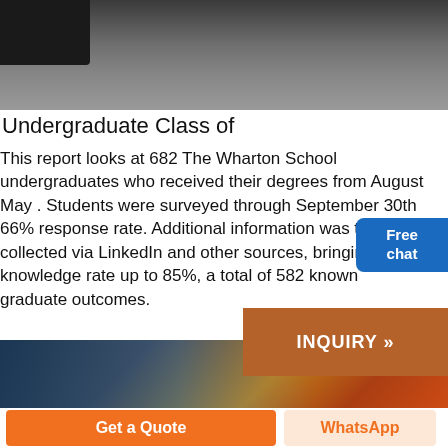[Figure (photo): Top portion of a photo, dark surface with metallic object visible at top left corner]
Undergraduate Class of
This report looks at 682 The Wharton School undergraduates who received their degrees from August May . Students were surveyed through September 30th 66% response rate. Additional information was then collected via LinkedIn and other sources, bringing the t knowledge rate up to 85%, a total of 582 known graduate outcomes.
[Figure (photo): Industrial or warehouse setting with blue metal shelving/racks and machinery visible]
Get a Quote
WhatsApp